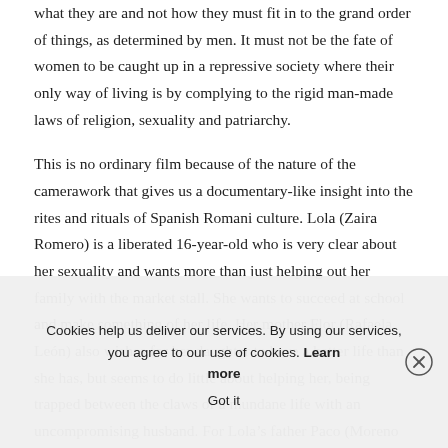what they are and not how they must fit in to the grand order of things, as determined by men. It must not be the fate of women to be caught up in a repressive society where their only way of living is by complying to the rigid man-made laws of religion, sexuality and patriarchy.
This is no ordinary film because of the nature of the camerawork that gives us a documentary-like insight into the rites and rituals of Spanish Romani culture. Lola (Zaira Romero) is a liberated 16-year-old who is very clear about her sexuality and wants more than just helping out her family with the market stall. She wants to succeed at school and make something of her life. Her mother Flor (Rafaela León) also wishes for her daughter to have a better life than she has, but seems to do little about helping her, being trapped between the claws of a mundane life with an uncompromising husband. For Lola's father Paco (Moreno Ba... she doesn't need an education, all she is there's food on the
Cookies help us deliver our services. By using our services, you agree to our use of cookies. Learn more   Got it